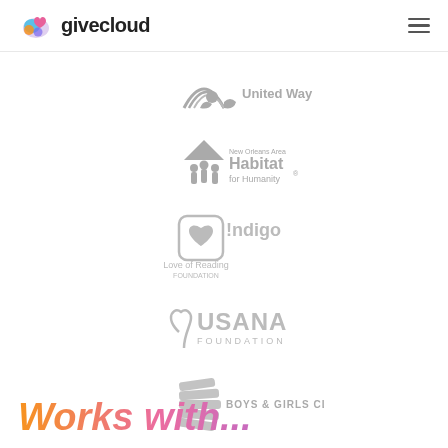givecloud
[Figure (logo): United Way logo - grayscale, hands raised under rainbow arc with text 'United Way']
[Figure (logo): Habitat for Humanity logo - grayscale, people figures under roof, text 'New Orleans Area Habitat for Humanity']
[Figure (logo): Indigo Love of Reading Foundation logo - grayscale, heart in square with text 'Indigo Love of Reading Foundation']
[Figure (logo): USANA Foundation logo - grayscale, heart with text 'USANA FOUNDATION']
[Figure (logo): Boys & Girls Club logo - grayscale, stylized hands logo with text 'BOYS & GIRLS CLUB']
Works with...